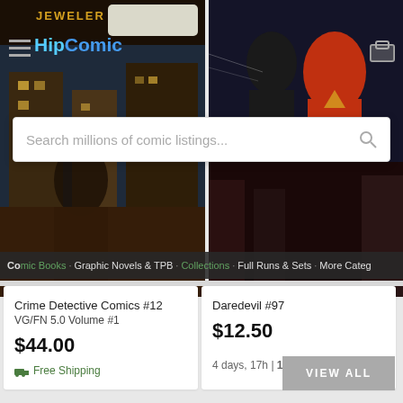[Figure (screenshot): Hip Comic book listing page showing two comic book images at top (Crime Detective Comics and Daredevil), a search bar overlay, navigation bar with category links, two product listing cards, and a VIEW ALL button]
Search millions of comic listings...
Comic Books · Graphic Novels & TPB · Collections · Full Runs & Sets · More Cate...
Crime Detective Comics #12
VG/FN 5.0 Volume #1
$44.00
Free Shipping
Daredevil #97
$12.50
4 days, 17h | 11 bids
VIEW ALL